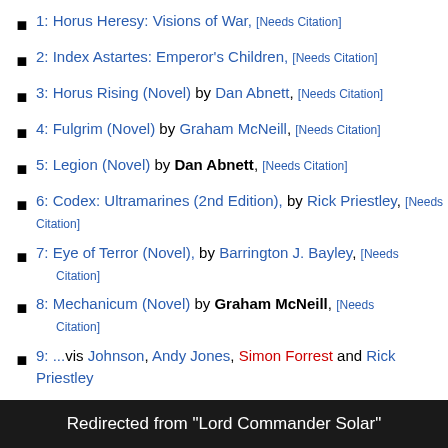1: Horus Heresy: Visions of War, [Needs Citation]
2: Index Astartes: Emperor's Children, [Needs Citation]
3: Horus Rising (Novel) by Dan Abnett, [Needs Citation]
4: Fulgrim (Novel) by Graham McNeill, [Needs Citation]
5: Legion (Novel) by Dan Abnett, [Needs Citation]
6: Codex: Ultramarines (2nd Edition), by Rick Priestley, [Needs Citation]
7: Eye of Terror (Novel), by Barrington J. Bayley, [Needs Citation]
8: Mechanicum (Novel) by Graham McNeill, [Needs Citation]
9: ... by ... Johnson, Andy Jones, Simon Forrest and Rick Priestley
Redirected from "Lord Commander Solar"